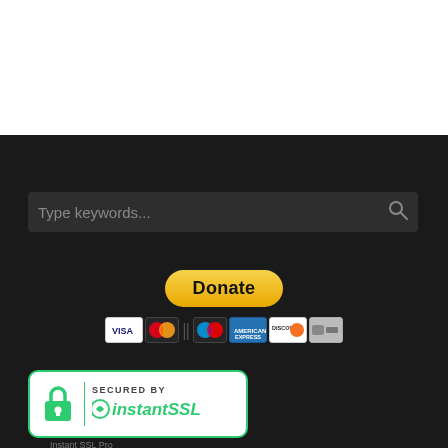[Figure (screenshot): Search bar with placeholder text 'Type keywords...' and search icon on dark background]
[Figure (infographic): PayPal Donate button (yellow rounded button) with payment card icons below: VISA, Mastercard, Maestro, American Express, Discover, and an additional card]
[Figure (logo): Instant SSL badge: white rounded rectangle with green border showing a padlock icon and text 'SECURED BY instantSSL']
Instant SSL Pro